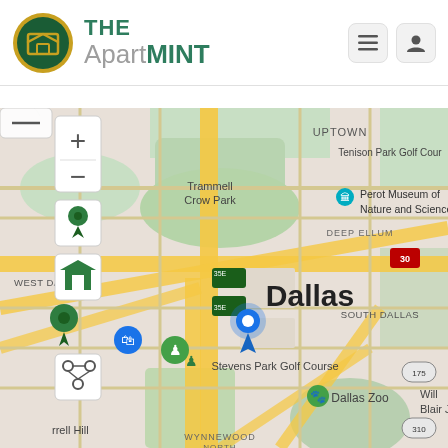[Figure (logo): The ApartMINT logo — circular gold/green emblem with stylized M icon, beside the brand name 'THE ApartMINT' in green and gray text]
[Figure (map): Google Maps view centered on Dallas, Texas showing downtown area with landmarks: Tenison Park Golf Course (Uptown), Perot Museum of Nature and Science, Trammell Crow Park (West Dallas), Deep Ellum, South Dallas, Stevens Park Golf Course, Dallas Zoo, Wynnewood area. Map shows blue location pin marker near I-35E, green location markers, highway routes I-30, I-35E, I-175, I-310, and I-35E interchange. Map controls visible on left: zoom in (+), zoom out (−), location pin button, home button, and sharing icon. Two blue circular markers and green markers visible.]